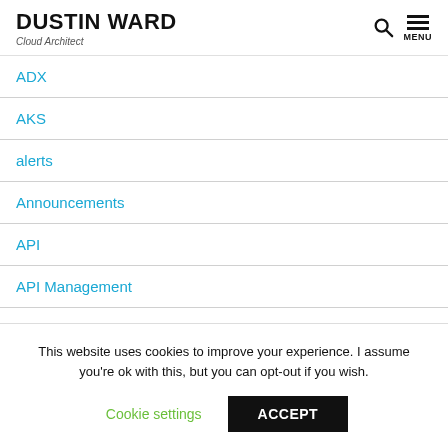DUSTIN WARD
Cloud Architect
ADX
AKS
alerts
Announcements
API
API Management
App Service Migration Assistant
Application Gateway
Application Insight
This website uses cookies to improve your experience. I assume you're ok with this, but you can opt-out if you wish.
Cookie settings   ACCEPT